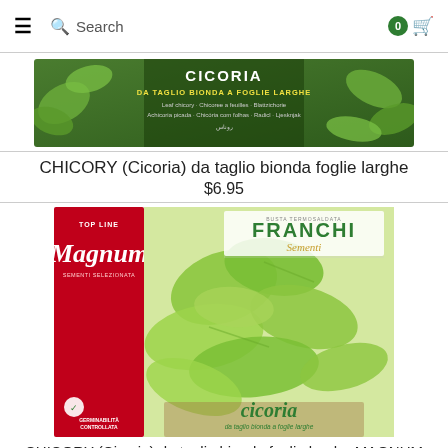≡  🔍 Search   0 🛒
[Figure (photo): Cicoria seed packet banner - green leaves background with text: CICORIA DA TAGLIO BIONDA A FOGLIE LARGHE, Leaf chicory, Chicoree a feuilles, Blattzichorie, Achicoria picada, Chicória com folhas, Radicl, Ljesknjak, with Arabic text]
CHICORY (Cicoria) da taglio bionda foglie larghe
$6.95
[Figure (photo): Franchi Sementi Magnum Top Line seed packet showing chicory (cicoria da taglio bionda a foglie larghe) with bright green leaves filling the packet, red left panel with Magnum branding, FRANCHI Sementi logo, and germination control symbol at bottom left]
CHICORY (Cicoria) da taglio bionda foglie larghe MAGNUM